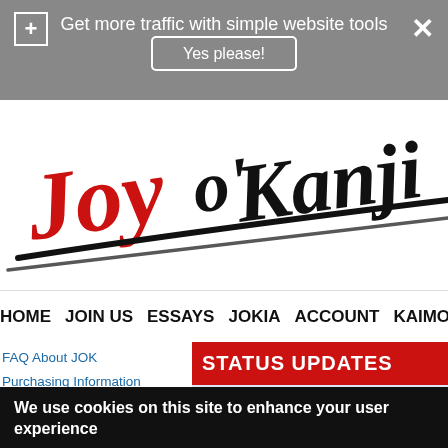Get more traffic with simple website tools
Yes please!
[Figure (logo): Joy o'Kanji website logo — 'Joy' in red handwritten script, 'o'Kanji' in black handwritten script, with a large black swooping brushstroke underline]
HOME   JOIN US   ESSAYS   JOKIA   ACCOUNT   KAIMO
FAQ About JOK
Purchasing Information
Express Checkout
Who We Are
STATUS UPDATES
JOK Notebook
Spring Color, Spring Greens
We use cookies on this site to enhance your user experience